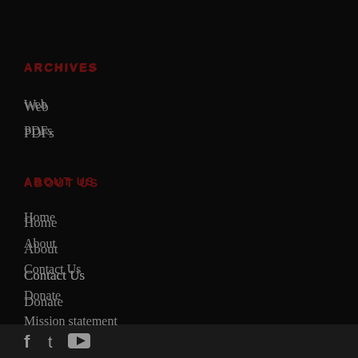ARCHIVES
Web
PDFs
ABOUT US
Home
About
Contact Us
Donate
Mission statement
Advertise
Privacy Policy
f  t  yt